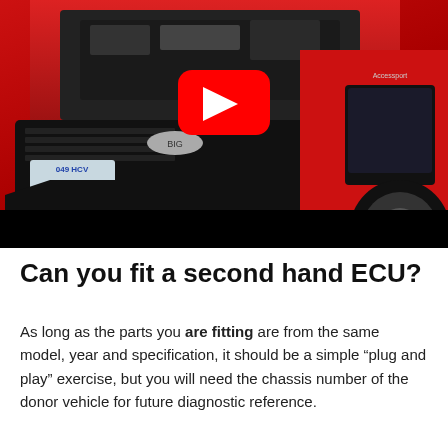[Figure (photo): A red Subaru WRX/STI with hood open showing engine, with a hand holding a red automotive diagnostic/ECU device. A YouTube play button overlay is visible in the center of the image. The bottom portion has a black bar.]
Can you fit a second hand ECU?
As long as the parts you are fitting are from the same model, year and specification, it should be a simple “plug and play” exercise, but you will need the chassis number of the donor vehicle for future diagnostic reference.